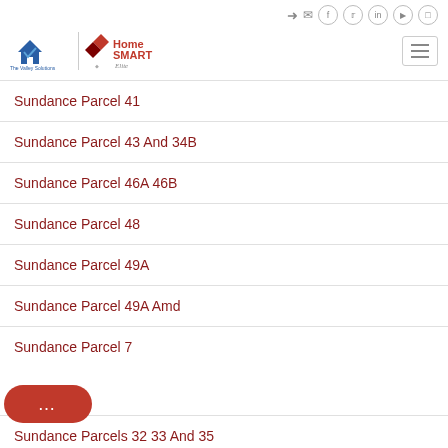[Figure (logo): The Valley Solutions Team and HomeSmart Elite logo]
Sundance Parcel 41
Sundance Parcel 43 And 34B
Sundance Parcel 46A 46B
Sundance Parcel 48
Sundance Parcel 49A
Sundance Parcel 49A Amd
Sundance Parcel 7
Sundance Parcels 32 33 And 35